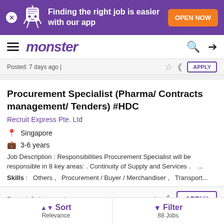[Figure (screenshot): Monster job board app promotional banner with purple background, mascot character, text 'Finding the right job is easier with our app', and orange 'OPEN NOW' button]
monster
Posted: 7 days ago |
Procurement Specialist (Pharma/ Contracts management/ Tenders) #HDC
Recruit Express Pte. Ltd
Singapore
3-6 years
Job Description : Responsibilities Procurement Specialist will be responsible in 8 key areas: . Continuity of Supply and Services . ...
Skills : Others , Procurement / Buyer / Merchandiser , Transport...
Posted: 6 days ago |
Sort Relevance
Filter 88 Jobs